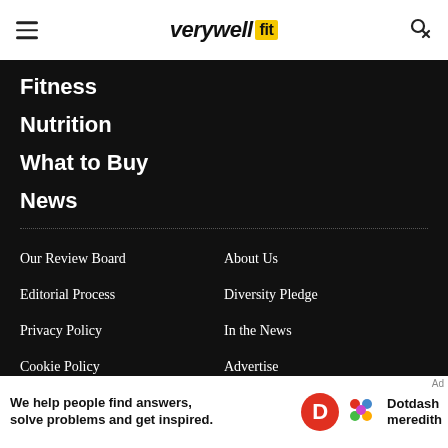verywell fit
Fitness
Nutrition
What to Buy
News
Our Review Board
About Us
Editorial Process
Diversity Pledge
Privacy Policy
In the News
Cookie Policy
Advertise
Terms of Use
Careers
California Privacy Notice
Contact
We help people find answers, solve problems and get inspired. Dotdash meredith